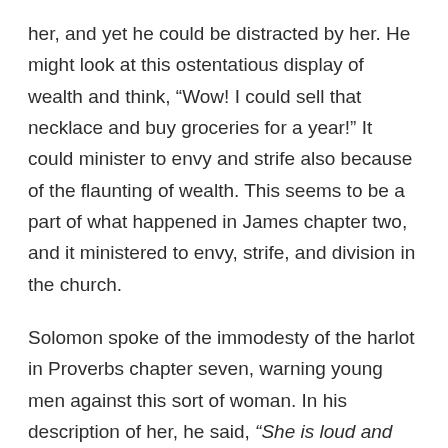her, and yet he could be distracted by her. He might look at this ostentatious display of wealth and think, “Wow! I could sell that necklace and buy groceries for a year!” It could minister to envy and strife also because of the flaunting of wealth. This seems to be a part of what happened in James chapter two, and it ministered to envy, strife, and division in the church.
Solomon spoke of the immodesty of the harlot in Proverbs chapter seven, warning young men against this sort of woman. In his description of her, he said, “She is loud and stubborn; Her feet